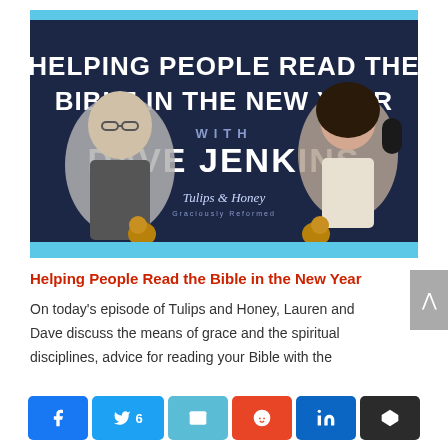[Figure (photo): Podcast thumbnail for 'Tulips and Honey' episode featuring Dave Jenkins. Dark navy background with large white bold text reading 'HELPING PEOPLE READ THE BIBLE IN THE NEW YEAR' and 'WITH DAVE JENKINS'. Photos of a man with glasses on the left and a woman on the right. Squirrel graphics and 'Tulips & Honey' podcast logo at the bottom. Blue border at top.]
Helping People Read the Bible in the New Year
On today's episode of Tulips and Honey, Lauren and Dave discuss the means of grace and the spiritual disciplines, advice for reading your Bible with the